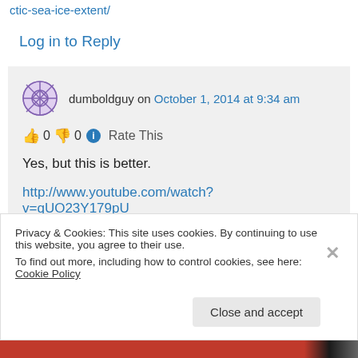ctic-sea-ice-extent/
Log in to Reply
dumboldguy on October 1, 2014 at 9:34 am
👍 0 👎 0 ℹ Rate This
Yes, but this is better.
http://www.youtube.com/watch?v=qUO23Y179pU
Privacy & Cookies: This site uses cookies. By continuing to use this website, you agree to their use. To find out more, including how to control cookies, see here: Cookie Policy
Close and accept